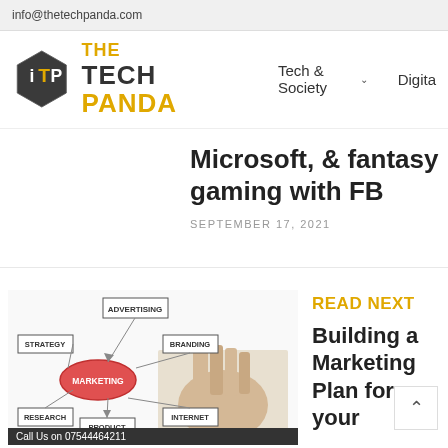info@thetechpanda.com
[Figure (logo): The Tech Panda logo with hexagon icon and yellow/black text]
Tech & Society ▾   Digita
Microsoft, & fantasy gaming with FB
SEPTEMBER 17, 2021
READ NEXT
[Figure (photo): Marketing plan diagram with hand pointing to MARKETING node, showing STRATEGY, RESEARCH, ADVERTISING, BRANDING, INTERNET, PRODUCT nodes]
Building a Marketing Plan for your
Call Us on 07544464211